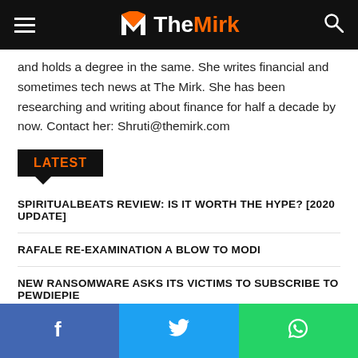The Mirk
and holds a degree in the same. She writes financial and sometimes tech news at The Mirk. She has been researching and writing about finance for half a decade by now. Contact her: Shruti@themirk.com
LATEST
SPIRITUALBEATS REVIEW: IS IT WORTH THE HYPE? [2020 UPDATE]
RAFALE RE-EXAMINATION A BLOW TO MODI
NEW RANSOMWARE ASKS ITS VICTIMS TO SUBSCRIBE TO PEWDIEPIE
Facebook | Twitter | WhatsApp